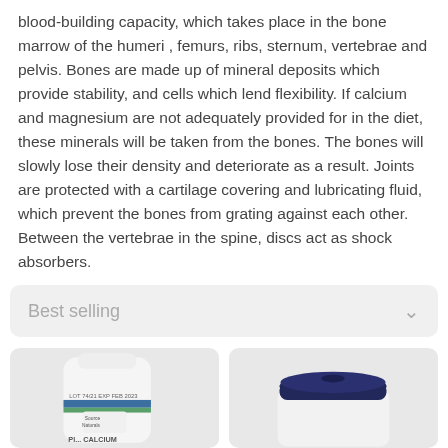blood-building capacity, which takes place in the bone marrow of the humeri , femurs, ribs, sternum, vertebrae and pelvis. Bones are made up of mineral deposits which provide stability, and cells which lend flexibility. If calcium and magnesium are not adequately provided for in the diet, these minerals will be taken from the bones. The bones will slowly lose their density and deteriorate as a result. Joints are protected with a cartilage covering and lubricating fluid, which prevent the bones from grating against each other. Between the vertebrae in the spine, discs act as shock absorbers.
Best selling
[Figure (photo): White supplement bottle with blue and green label stripe, showing text 'Pl... CALCIUM' and expiry date FEB 2023, Source Naturals brand]
[Figure (photo): White supplement bottle with dark navy blue cap/lid, viewed from above/side angle]